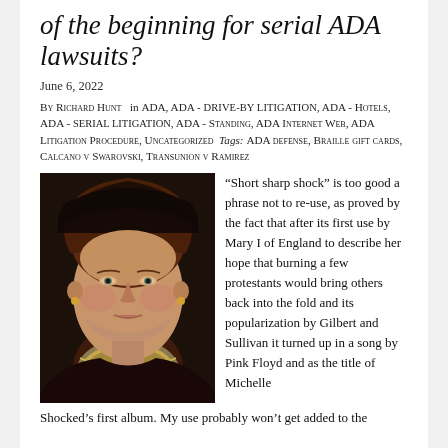of the beginning for serial ADA lawsuits?
June 6, 2022
By Richard Hunt   in ADA, ADA - Drive-by Litigation, ADA - Hotels, ADA - serial litigation, ADA - Standing, ADA Internet Web, ADA Litigation Procedure, Uncategorized   Tags: ADA defense, Braille gift cards, Calcano v Swarovski, Transunion v Ramirez
[Figure (photo): Portrait painting of a woman, possibly Mary I of England, wearing historical dress with an ornate collar, reddish-brown hair, stern expression, dark background.]
“Short sharp shock” is too good a phrase not to re-use, as proved by the fact that after its first use by Mary I of England to describe her hope that burning a few protestants would bring others back into the fold and its popularization by Gilbert and Sullivan it turned up in a song by Pink Floyd and as the title of Michelle Shocked’s first album. My use probably won’t get added to the